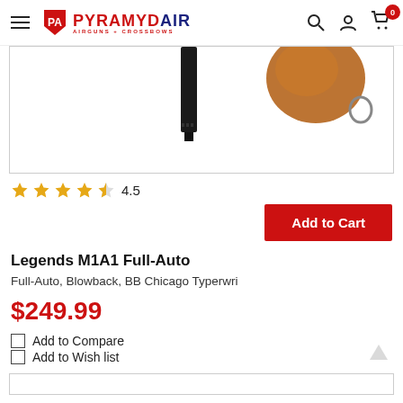Pyramyd Air - Airgun + Crossbows
[Figure (photo): Partial product image showing the barrel and wooden stock of the Legends M1A1 Full-Auto BB gun against a white background]
4.5
Add to Cart
Legends M1A1 Full-Auto
Full-Auto, Blowback, BB Chicago Typerwri
$249.99
Add to Compare
Add to Wish list